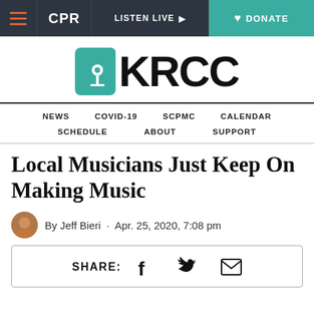CPR | LISTEN LIVE | DONATE
[Figure (logo): KRCC logo with teal radio tower icon and bold KRCC text]
NEWS | COVID-19 | SCPMC | CALENDAR | SCHEDULE | ABOUT | SUPPORT
Local Musicians Just Keep On Making Music
By Jeff Bieri · Apr. 25, 2020, 7:08 pm
SHARE: [Facebook] [Twitter] [Email]